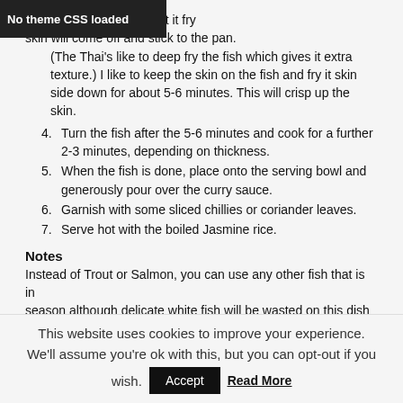No theme CSS loaded
ve the fish around, just let it fry skin will come off and stick to the pan. (The Thai's like to deep fry the fish which gives it extra texture.) I like to keep the skin on the fish and fry it skin side down for about 5-6 minutes. This will crisp up the skin.
4. Turn the fish after the 5-6 minutes and cook for a further 2-3 minutes, depending on thickness.
5. When the fish is done, place onto the serving bowl and generously pour over the curry sauce.
6. Garnish with some sliced chillies or coriander leaves.
7. Serve hot with the boiled Jasmine rice.
Notes
Instead of Trout or Salmon, you can use any other fish that is in season although delicate white fish will be wasted on this dish
This website uses cookies to improve your experience. We'll assume you're ok with this, but you can opt-out if you wish. Accept Read More